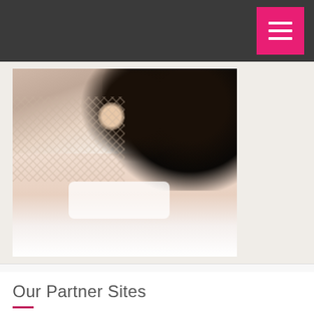[Figure (photo): A woman with dark curly hair wearing white lingerie posed on a bed with white sheets, shot in boudoir style.]
Our Partner Sites
Chennai Escorts
Bangalore Escorts
Escorts in Chennai